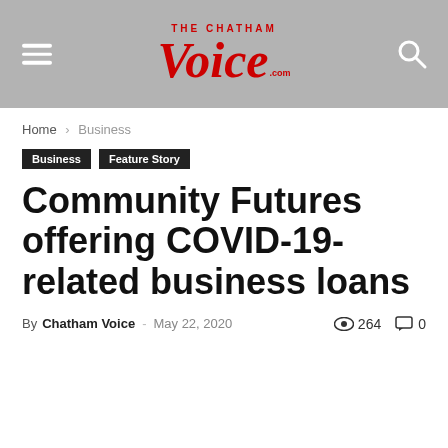THE CHATHAM Voice.com
Home › Business
Business  Feature Story
Community Futures offering COVID-19-related business loans
By Chatham Voice - May 22, 2020  264  0